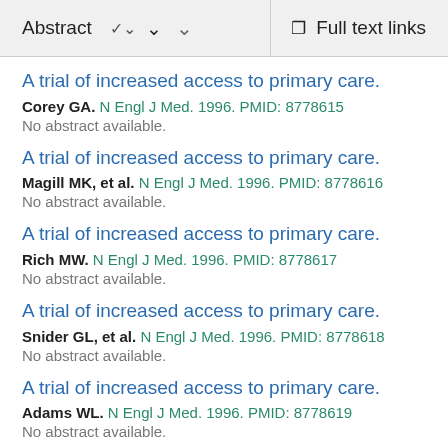Abstract   ∨   Full text links
A trial of increased access to primary care.
Corey GA. N Engl J Med. 1996. PMID: 8778615
No abstract available.
A trial of increased access to primary care.
Magill MK, et al. N Engl J Med. 1996. PMID: 8778616
No abstract available.
A trial of increased access to primary care.
Rich MW. N Engl J Med. 1996. PMID: 8778617
No abstract available.
A trial of increased access to primary care.
Snider GL, et al. N Engl J Med. 1996. PMID: 8778618
No abstract available.
A trial of increased access to primary care.
Adams WL. N Engl J Med. 1996. PMID: 8778619
No abstract available.